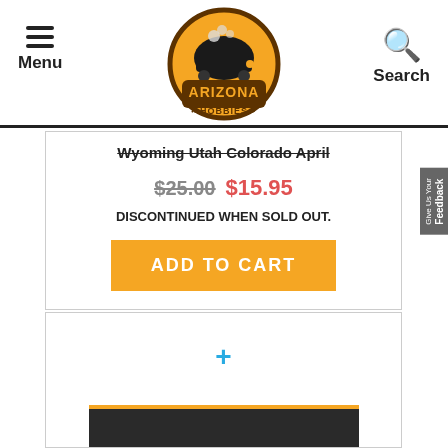Arizona Hobbies — Menu | Logo | Search
Wyoming Utah Colorado April
$25.00 $15.95
DISCONTINUED WHEN SOLD OUT.
ADD TO CART
[Figure (other): Product card 2 with plus icon and partial product image at bottom]